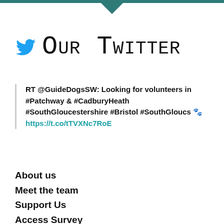Our Twitter
RT @GuideDogsSW: Looking for volunteers in #Patchway & #CadburyHeath #SouthGloucestershire #Bristol #SouthGloucs 🐾 https://t.co/tTVXNc7RoE
About us
Meet the team
Support Us
Access Survey
Bad Good South...